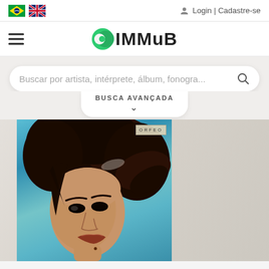Login | Cadastre-se
[Figure (logo): IMMuB logo with green circle icon and bold text]
Buscar por artista, intérprete, álbum, fonogra...
BUSCA AVANÇADA
[Figure (photo): Album cover with woman with dark hair on teal/blue background, Orfeo label in top right corner]